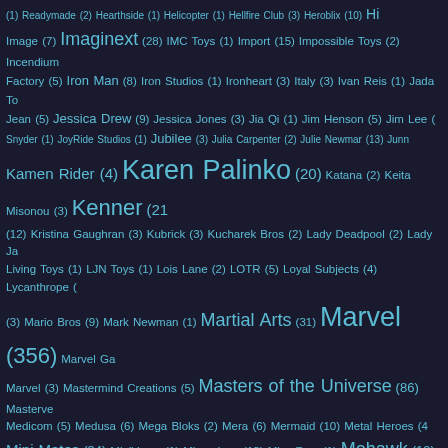Tag cloud of toy/figure categories with counts, showing terms like Readymade, Hearthside, Helicopter, Hellfire Club, Heroblix, etc. through Supergirl, Superman, Superwoman, Symbiote, Takara and many more, with font size indicating frequency.